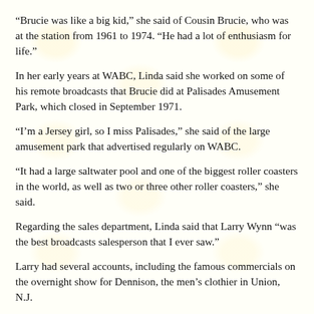“Brucie was like a big kid,” she said of Cousin Brucie, who was at the station from 1961 to 1974. “He had a lot of enthusiasm for life.”
In her early years at WABC, Linda said she worked on some of his remote broadcasts that Brucie did at Palisades Amusement Park, which closed in September 1971.
“I’m a Jersey girl, so I miss Palisades,” she said of the large amusement park that advertised regularly on WABC.
“It had a large saltwater pool and one of the biggest roller coasters in the world, as well as two or three other roller coasters,” she said.
Regarding the sales department, Linda said that Larry Wynn “was the best broadcasts salesperson that I ever saw.”
Larry had several accounts, including the famous commercials on the overnight show for Dennison, the men’s clothier in Union, N.J.
“He was a very charismatic person who had been in Vaudeville years ago and had written music for Broadway plays,” Linda said of the reasons why Larry was so successful in sales. “He also gave